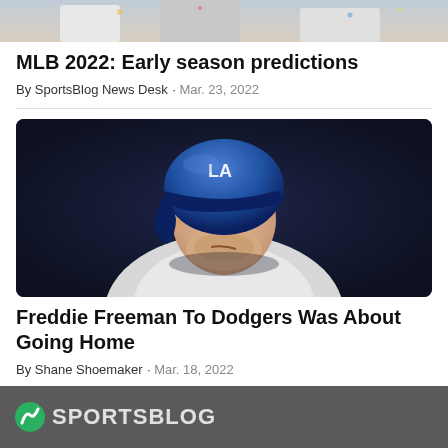[Figure (photo): Cropped top of a baseball scene with players in uniforms, partial image]
MLB 2022: Early season predictions
By SportsBlog News Desk · Mar. 23, 2022
[Figure (photo): Freddie Freeman wearing a blue LA Dodgers batting helmet, close-up portrait against dark background]
Freddie Freeman To Dodgers Was About Going Home
By Shane Shoemaker · Mar. 18, 2022
SPORTSBLOG